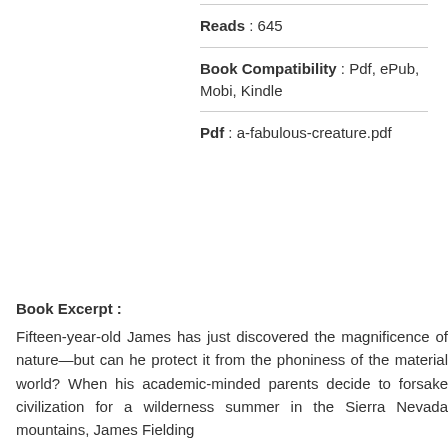Reads : 645
Book Compatibility : Pdf, ePub, Mobi, Kindle
Pdf : a-fabulous-creature.pdf
Book Excerpt :
Fifteen-year-old James has just discovered the magnificence of nature—but can he protect it from the phoniness of the material world? When his academic-minded parents decide to forsake civilization for a wilderness summer in the Sierra Nevada mountains, James Fielding